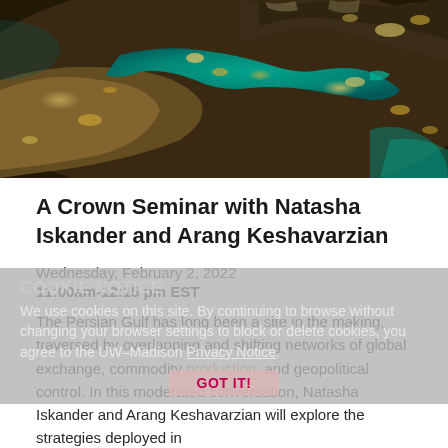[Figure (photo): Satellite night-view photo of the Persian Gulf region showing glowing city lights (warm yellow/orange) on land and vivid teal/turquoise water of the Persian Gulf, with mountainous terrain visible.]
A Crown Seminar with Natasha Iskander and Arang Keshavarzian
Wednesday, February 2, 2022
11:00am-12:15 pm EST
The Persian Gulf has long been a site in the making, traversed by overlapping and shifting networks of global exchange, commodity production, and geopolitical control. In this moderated conversation, Natasha Iskander and Arang Keshavarzian will explore the strategies deployed in